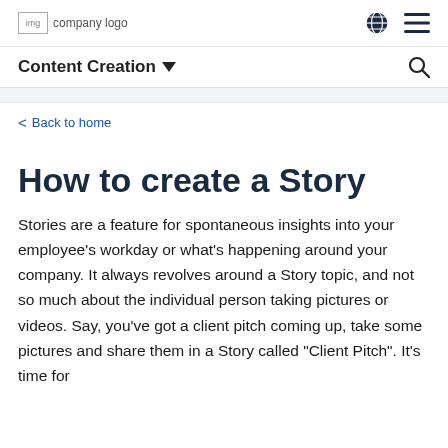company logo
Content Creation
< Back to home
How to create a Story
Stories are a feature for spontaneous insights into your employee's workday or what's happening around your company. It always revolves around a Story topic, and not so much about the individual person taking pictures or videos. Say, you've got a client pitch coming up, take some pictures and share them in a Story called "Client Pitch". It's time for